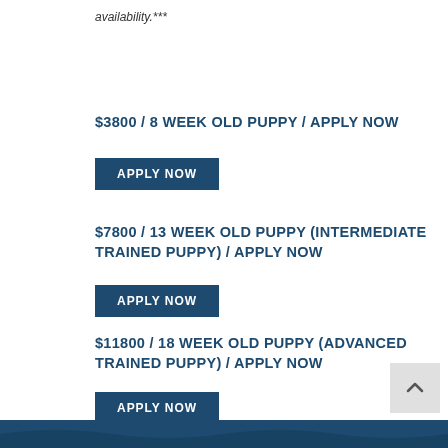availability.***
$3800 / 8 WEEK OLD PUPPY / APPLY NOW
APPLY NOW
$7800 / 13 WEEK OLD PUPPY (INTERMEDIATE TRAINED PUPPY) / APPLY NOW
APPLY NOW
$11800 / 18 WEEK OLD PUPPY (ADVANCED TRAINED PUPPY) / APPLY NOW
APPLY NOW
$15800 / 23 WEEK OLD PUPPY (PREMIUM TRAINED PUPPY) / APPLY NOW
APPLY NOW